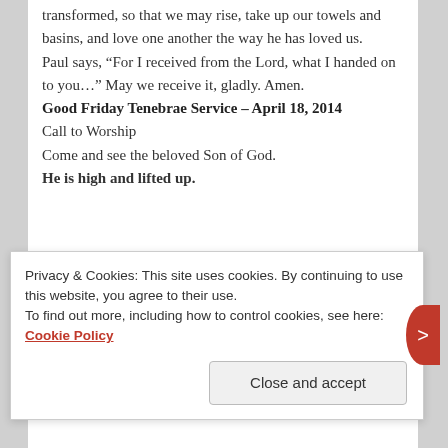transformed, so that we may rise, take up our towels and basins, and love one another the way he has loved us.
Paul says, “For I received from the Lord, what I handed on to you…” May we receive it, gladly. Amen.
Good Friday Tenebrae Service – April 18, 2014
Call to Worship
Come and see the beloved Son of God.
He is high and lifted up.
Privacy & Cookies: This site uses cookies. By continuing to use this website, you agree to their use.
To find out more, including how to control cookies, see here: Cookie Policy